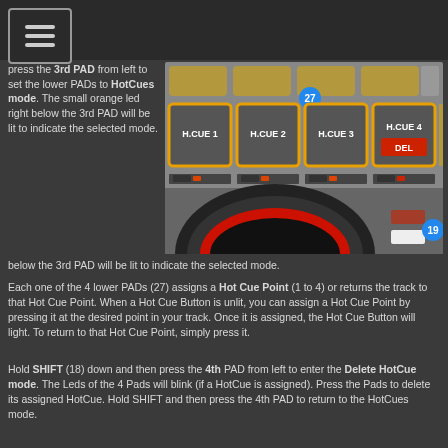Menu
press the 3rd PAD from left to set the lower PADs to HotCues mode. The small orange led right below the 3rd PAD will be lit to indicate the selected mode.
[Figure (photo): DJ controller pad section showing H.CUE 1, H.CUE 2, H.CUE 3, H.CUE 4 buttons with numbered callouts 27 and 19]
Each one of the 4 lower PADs (27) assigns a Hot Cue Point (1 to 4) or returns the track to that Hot Cue Point. When a Hot Cue Button is unlit, you can assign a Hot Cue Point by pressing it at the desired point in your track. Once it is assigned, the Hot Cue Button will light. To return to that Hot Cue Point, simply press it.
Hold SHIFT (18) down and then press the 4th PAD from left to enter the Delete HotCue mode. The Leds of the 4 Pads will blink (if a HotCue is assigned). Press the Pads to delete its assigned HotCue. Hold SHIFT and then press the 4th PAD to return to the HotCues mode.